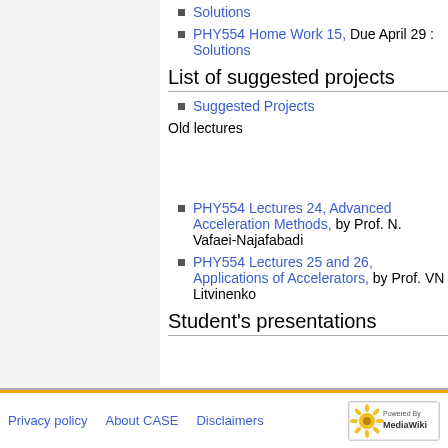Solutions
PHY554 Home Work 15, Due April 29 : Solutions
List of suggested projects
Suggested Projects
Old lectures
PHY554 Lectures 24, Advanced Acceleration Methods, by Prof. N. Vafaei-Najafabadi
PHY554 Lectures 25 and 26, Applications of Accelerators, by Prof. VN Litvinenko
Student's presentations
Privacy policy   About CASE   Disclaimers   Powered by MediaWiki